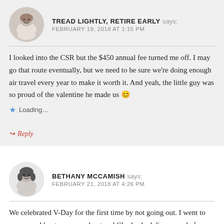TREAD LIGHTLY, RETIRE EARLY says: FEBRUARY 19, 2018 AT 1:15 PM
I looked into the CSR but the $450 annual fee turned me off. I may go that route eventually, but we need to be sure we're doing enough air travel every year to make it worth it. And yeah, the little guy was so proud of the valentine he made us 😊
Loading...
Reply
BETHANY MCCAMISH says: FEBRUARY 21, 2018 AT 4:26 PM
We celebrated V-Day for the first time by not going out. I went to my normal boot camp workout and Charles had dinner ready for me when I got home. It was a perfectly relaxing evening.